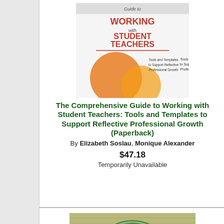[Figure (illustration): Book cover for 'The Comprehensive Guide to Working with Student Teachers' showing orange circles on white/blue background]
The Comprehensive Guide to Working with Student Teachers: Tools and Templates to Support Reflective Professional Growth (Paperback)
By Elizabeth Soslau, Monique Alexander
$47.18
Temporarily Unavailable
[Figure (illustration): Book cover for 'Adventures in Teacher Leadership' showing a circular badge design with mountains]